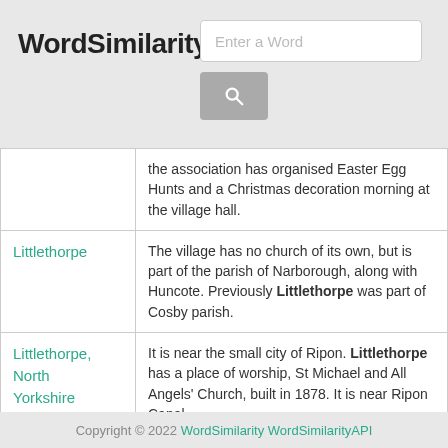WordSimilarity
| Word | Description |
| --- | --- |
|  | the association has organised Easter Egg Hunts and a Christmas decoration morning at the village hall. |
| Littlethorpe | The village has no church of its own, but is part of the parish of Narborough, along with Huncote. Previously Littlethorpe was part of Cosby parish. |
| Littlethorpe, North Yorkshire | It is near the small city of Ripon. Littlethorpe has a place of worship, St Michael and All Angels' Church, built in 1878. It is near Ripon Canal. |
|  |  |
Copyright © 2022 WordSimilarity WordSimilarityAPI